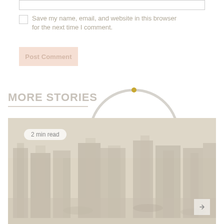[input field]
Save my name, email, and website in this browser for the next time I comment.
Post Comment
MORE STORIES
[Figure (other): Loading spinner circle with a small gold dot at top, gray ring outline]
[Figure (photo): Aerial or elevated cityscape photograph, faded/washed out appearance]
2 min read